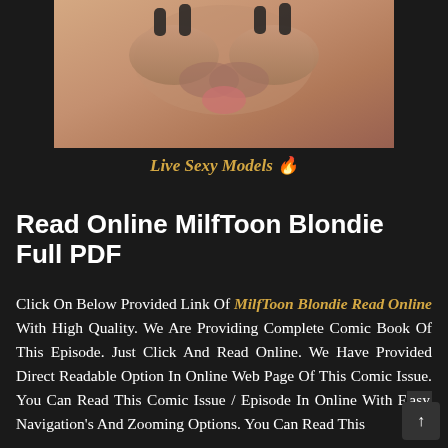[Figure (photo): Close-up photo of hands against skin background]
Live Sexy Models 🔥
Read Online MilfToon Blondie Full PDF
Click On Below Provided Link Of MilfToon Blondie Read Online With High Quality. We Are Providing Complete Comic Book Of This Episode. Just Click And Read Online. We Have Provided Direct Readable Option In Online Web Page Of This Comic Issue. You Can Read This Comic Issue / Episode In Online With Easy Navigation's And Zooming Options. You Can Read This